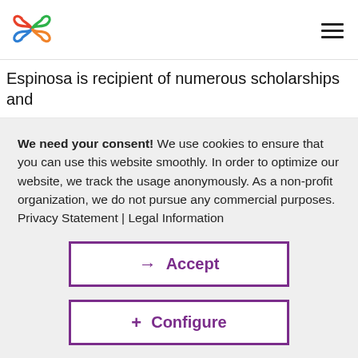[Figure (logo): Colorful infinity-knot logo with red, green, blue, and orange loops]
Espinosa is recipient of numerous scholarships and
We need your consent! We use cookies to ensure that you can use this website smoothly. In order to optimize our website, we track the usage anonymously. As a non-profit organization, we do not pursue any commercial purposes. Privacy Statement | Legal Information
→ Accept
+ Configure